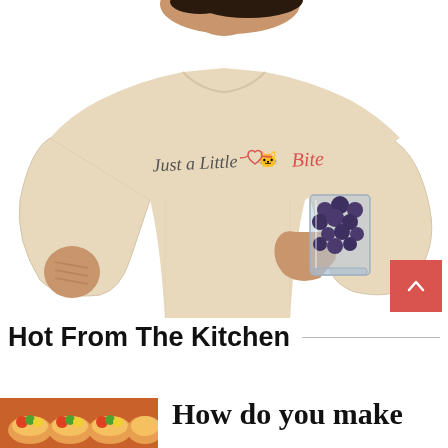[Figure (photo): A man wearing a beige/cream t-shirt with text 'Just a Little Bite' with a cat face icon in pink/red cursive. He is holding a glass cup filled with blueberries, looking upward. Background is white.]
Hot From The Kitchen
[Figure (photo): Small thumbnail image of food (appears to be pastries or snacks with colorful items on top)]
How do you make